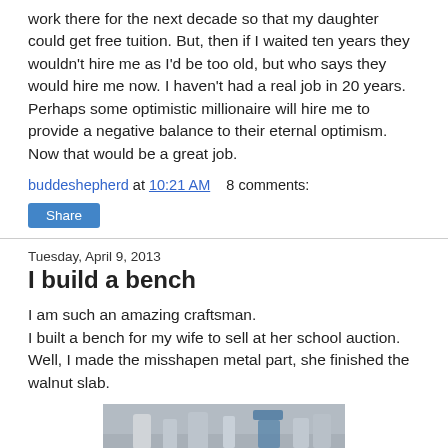work there for the next decade so that my daughter could get free tuition. But, then if I waited ten years they wouldn't hire me as I'd be too old, but who says they would hire me now. I haven't had a real job in 20 years. Perhaps some optimistic millionaire will hire me to provide a negative balance to their eternal optimism. Now that would be a great job.
buddeshepherd at 10:21 AM    8 comments:
Share
Tuesday, April 9, 2013
I build a bench
I am such an amazing craftsman.
I built a bench for my wife to sell at her school auction. Well, I made the misshapen metal part, she finished the walnut slab.
[Figure (photo): Partial photo of what appears to be bench-making tools and materials on a surface]